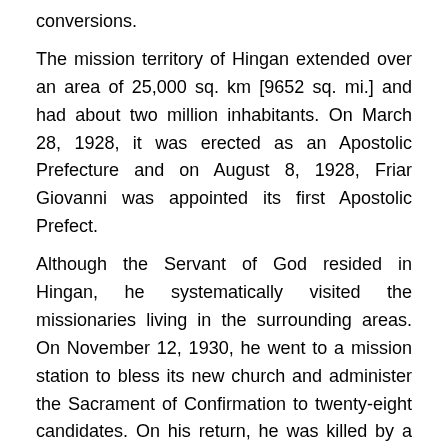conversions.
The mission territory of Hingan extended over an area of 25,000 sq. km [9652 sq. mi.] and had about two million inhabitants. On March 28, 1928, it was erected as an Apostolic Prefecture and on August 8, 1928, Friar Giovanni was appointed its first Apostolic Prefect.
Although the Servant of God resided in Hingan, he systematically visited the missionaries living in the surrounding areas. On November 12, 1930, he went to a mission station to bless its new church and administer the Sacrament of Confirmation to twenty-eight candidates. On his return, he was killed by a gang of bandits. This occurred despite the protections the missionaries enjoyed through international conventions, the security provided by local authorities and the respect they had earned from some of the bandits themselves.
While it is true that the bandits were mainly driven by the ...